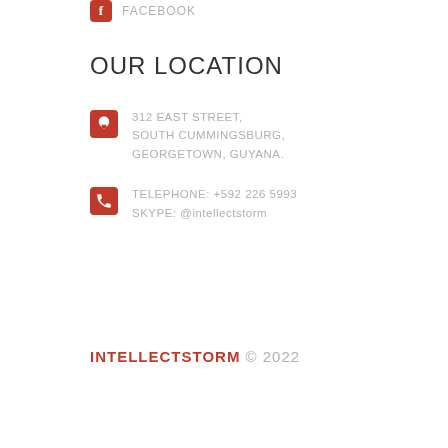[Figure (logo): Facebook icon (red rounded square with white 'f') followed by text FACEBOOK]
OUR LOCATION
312 EAST STREET,
SOUTH CUMMINGSBURG,
GEORGETOWN, GUYANA.
TELEPHONE: +592 226 5993
SKYPE: @intellectstorm
INTELLECTSTORM © 2022